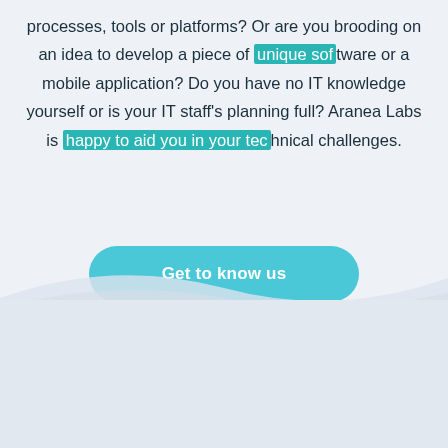processes, tools or platforms? Or are you brooding on an idea to develop a piece of unique software or a mobile application? Do you have no IT knowledge yourself or is your IT staff's planning full? Aranea Labs is happy to aid you in your technical challenges.
Get to know us